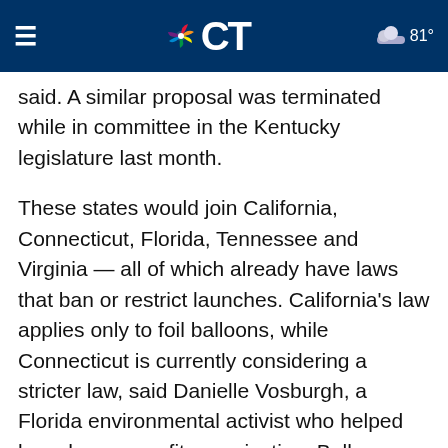NBC CT — 81°
said. A similar proposal was terminated while in committee in the Kentucky legislature last month.
These states would join California, Connecticut, Florida, Tennessee and Virginia — all of which already have laws that ban or restrict launches. California's law applies only to foil balloons, while Connecticut is currently considering a stricter law, said Danielle Vosburgh, a Florida environmental activist who helped launch a nonprofit organization, Balloons Blow.
Maine's proposal to ban mass balloon releases took flight at a town meeting last month in Unity. Penny Sampson, chairwoman of the Select Board, said she had witnessed a couple releases in person. Once was in 2000 when triplet